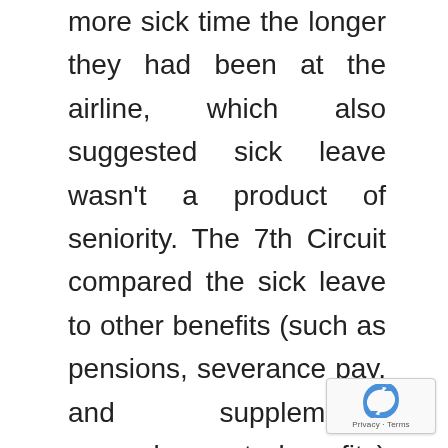more sick time the longer they had been at the airline, which also suggested sick leave wasn't a product of seniority. The 7th Circuit compared the sick leave to other benefits (such as pensions, severance pay, and supplemental unemployment benefits) which, unlike sick time, incentivize workers to continue working at a company and give them a reason to stay at a job. Sick leave was merely a respite, a break from work when ill, as compensation for services rendered.
The 7th Circuit also noted United's sick leave policy contained a work requirement, pointing out that benefits conditioned on a bona fide work requirement are more likely to be compensation rather than a reward for